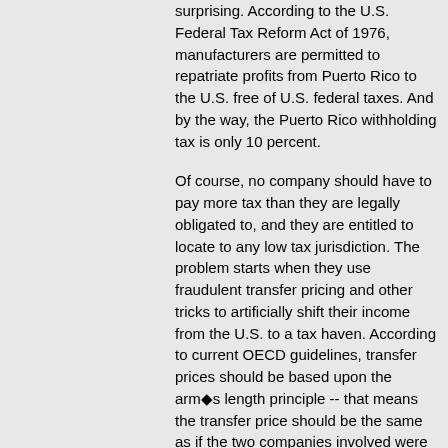surprising. According to the U.S. Federal Tax Reform Act of 1976, manufacturers are permitted to repatriate profits from Puerto Rico to the U.S. free of U.S. federal taxes. And by the way, the Puerto Rico withholding tax is only 10 percent.
Of course, no company should have to pay more tax than they are legally obligated to, and they are entitled to locate to any low tax jurisdiction. The problem starts when they use fraudulent transfer pricing and other tricks to artificially shift their income from the U.S. to a tax haven. According to current OECD guidelines, transfer prices should be based upon the arm◆s length principle -- that means the transfer price should be the same as if the two companies involved were indeed two independents, not part of the same corporate structure. Reality is that standard operating procedure for multinationals is to consistently violate this rule. And why shouldn◆t they? After all, it takes 17 years for them to pay up, per the above GSK example, even when they get caught.
Another industry which successfully exploits overseas tax strategies to cheat us all is the hi-tech industry. In